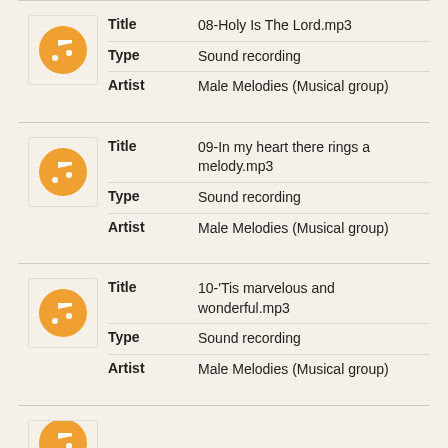Title: 08-Holy Is The Lord.mp3, Type: Sound recording, Artist: Male Melodies (Musical group)
Title: 09-In my heart there rings a melody.mp3, Type: Sound recording, Artist: Male Melodies (Musical group)
Title: 10-'Tis marvelous and wonderful.mp3, Type: Sound recording, Artist: Male Melodies (Musical group)